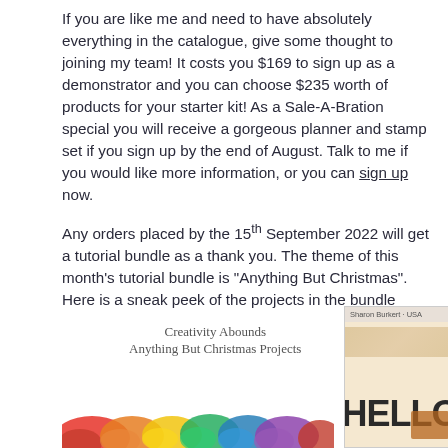If you are like me and need to have absolutely everything in the catalogue, give some thought to joining my team! It costs you $169 to sign up as a demonstrator and you can choose $235 worth of products for your starter kit! As a Sale-A-Bration special you will receive a gorgeous planner and stamp set if you sign up by the end of August. Talk to me if you would like more information, or you can sign up now.
Any orders placed by the 15th September 2022 will get a tutorial bundle as a thank you. The theme of this month's tutorial bundle is "Anything But Christmas". Here is a sneak peek of the projects in the bundle
[Figure (illustration): Colorful powder/holi splash in rainbow colors (red, orange, yellow, green, blue, purple) at the bottom, with cursive script text above reading 'Creativity Abounds Anything But Christmas Projects']
[Figure (photo): Card or stamp image showing 'HELLO' in large bold letters with a decorative orange/brown stamp element, with 'Sharon Burkert - USA' header at top]